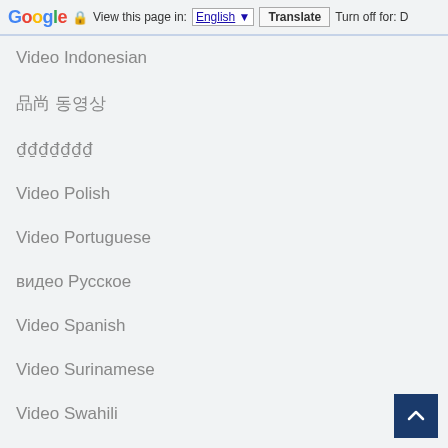Google | View this page in: English ▼ | Translate | Turn off for: D
Video Indonesian
한국 동영상
वीडियो हिन्दी
Video Polish
Video Portuguese
видео Русское
Video Spanish
Video Surinamese
Video Swahili